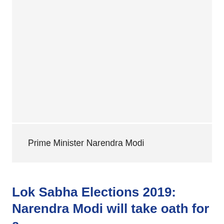[Figure (photo): Photograph of Prime Minister Narendra Modi (image area, content not visible in this crop)]
Prime Minister Narendra Modi
Lok Sabha Elections 2019: Narendra Modi will take oath for a